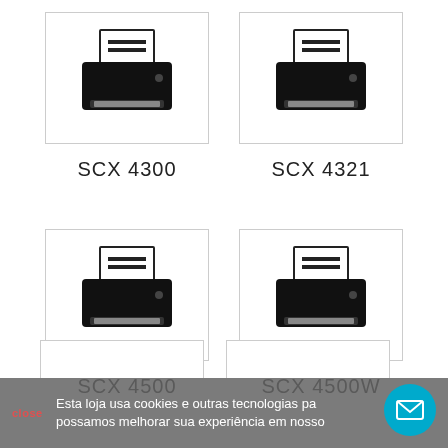[Figure (illustration): Printer icon for SCX 4300 — black silhouette of a desktop printer with paper tray and output paper, inside a white bordered box]
[Figure (illustration): Printer icon for SCX 4321 — black silhouette of a desktop printer with paper tray and output paper, inside a white bordered box]
SCX 4300
SCX 4321
[Figure (illustration): Printer icon for SCX 4500 — black silhouette of a desktop printer with paper tray and output paper, inside a white bordered box]
[Figure (illustration): Printer icon for SCX 4500W — black silhouette of a desktop printer with paper tray and output paper, inside a white bordered box]
SCX 4500
SCX 4500W
Esta loja usa cookies e outras tecnologias pa possamos melhorar sua experiência em nosso